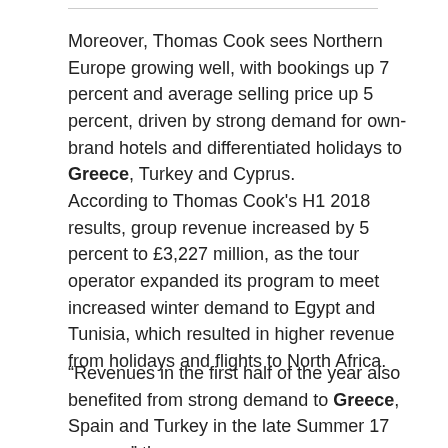Moreover, Thomas Cook sees Northern Europe growing well, with bookings up 7 percent and average selling price up 5 percent, driven by strong demand for own-brand hotels and differentiated holidays to Greece, Turkey and Cyprus.
According to Thomas Cook's H1 2018 results, group revenue increased by 5 percent to £3,227 million, as the tour operator expanded its program to meet increased winter demand to Egypt and Tunisia, which resulted in higher revenue from holidays and flights to North Africa.
“Revenues in the first half of the year also benefited from strong demand to Greece, Spain and Turkey in the late Summer 17 season,” the